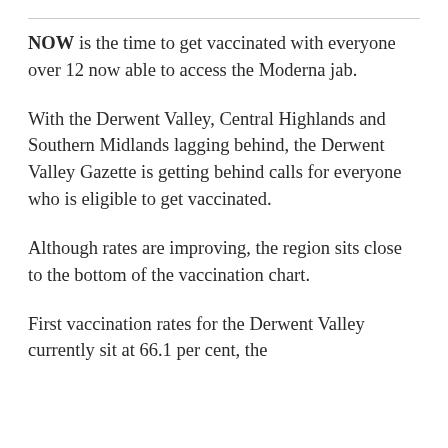NOW is the time to get vaccinated with everyone over 12 now able to access the Moderna jab.
With the Derwent Valley, Central Highlands and Southern Midlands lagging behind, the Derwent Valley Gazette is getting behind calls for everyone who is eligible to get vaccinated.
Although rates are improving, the region sits close to the bottom of the vaccination chart.
First vaccination rates for the Derwent Valley currently sit at 66.1 per cent, the